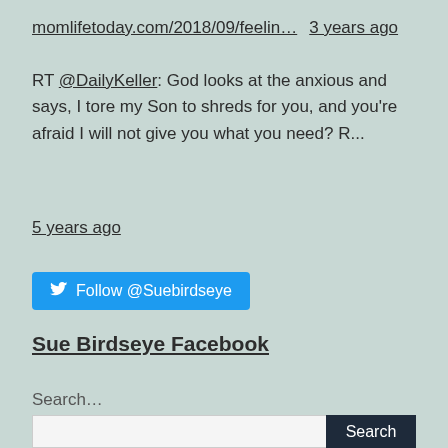momlifetoday.com/2018/09/feelin… 3 years ago
RT @DailyKeller: God looks at the anxious and says, I tore my Son to shreds for you, and you're afraid I will not give you what you need? R...
5 years ago
Follow @Suebirdseye
Sue Birdseye Facebook
Search…